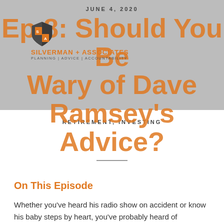JUNE 4, 2020
[Figure (logo): Silverman + Associates shield logo with orange and dark colors, with text SILVERMAN + ASSOCIATES and tagline PLANNING | ADVICE | ACCOUNTABILITY]
Ep 8: Should You Be Wary of Dave Ramsey's Advice?
RETIREMENT, INVESTING
On This Episode
Whether you've heard his radio show on accident or know his baby steps by heart, you've probably heard of